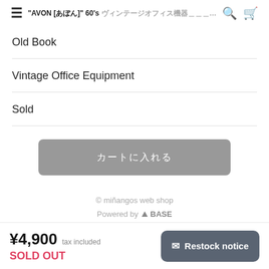"AVON [アボン]" 60's ヴィンテージオフィス機器...
Old Book
Vintage Office Equipment
Sold
カートに入れる (button - sold out)
© miñangos web shop
Powered by BASE
¥4,900 tax included
SOLD OUT
Restock notice